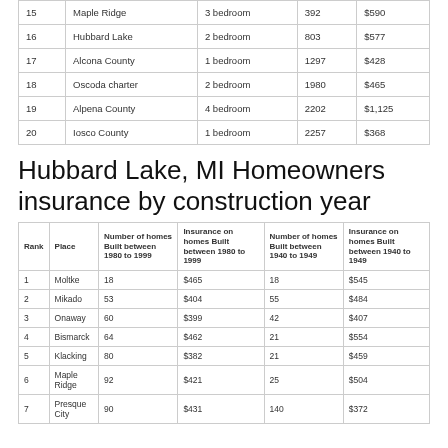| Rank | Place | Number of homes Built between 1980 to 1999 | Insurance on homes Built between 1980 to 1999 | Number of homes Built between 1940 to 1949 | Insurance on homes Built between 1940 to 1949 |
| --- | --- | --- | --- | --- | --- |
| 15 | Maple Ridge | 3 bedroom | 392 | $590 |
| 16 | Hubbard Lake | 2 bedroom | 803 | $577 |
| 17 | Alcona County | 1 bedroom | 1297 | $428 |
| 18 | Oscoda charter | 2 bedroom | 1980 | $465 |
| 19 | Alpena County | 4 bedroom | 2202 | $1,125 |
| 20 | Iosco County | 1 bedroom | 2257 | $368 |
Hubbard Lake, MI Homeowners insurance by construction year
| Rank | Place | Number of homes Built between 1980 to 1999 | Insurance on homes Built between 1980 to 1999 | Number of homes Built between 1940 to 1949 | Insurance on homes Built between 1940 to 1949 |
| --- | --- | --- | --- | --- | --- |
| 1 | Moltke | 18 | $465 | 18 | $545 |
| 2 | Mikado | 53 | $404 | 55 | $484 |
| 3 | Onaway | 60 | $399 | 42 | $407 |
| 4 | Bismarck | 64 | $462 | 21 | $554 |
| 5 | Klacking | 80 | $382 | 21 | $459 |
| 6 | Maple Ridge | 92 | $421 | 25 | $504 |
| 7 | Presque City | 90 | $431 | 140 | $372 |